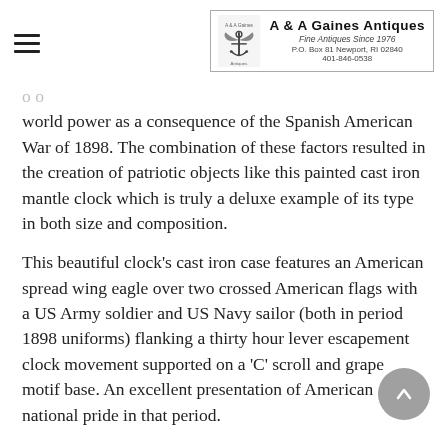A & A Gaines Antiques — Fine Antiques Since 1976 — P.O. Box 81 Newport, RI 02840 — 401-846-0538
world power as a consequence of the Spanish American War of 1898. The combination of these factors resulted in the creation of patriotic objects like this painted cast iron mantle clock which is truly a deluxe example of its type in both size and composition.
This beautiful clock's cast iron case features an American spread wing eagle over two crossed American flags with a US Army soldier and US Navy sailor (both in period 1898 uniforms) flanking a thirty hour lever escapement clock movement supported on a 'C' scroll and grape motif base. An excellent presentation of American national pride in that period.
An important feature of this piece is that it retains 90% of original polychrome painted finish! The colors are rich with minimal edge wear and a few chips from handling. It is well